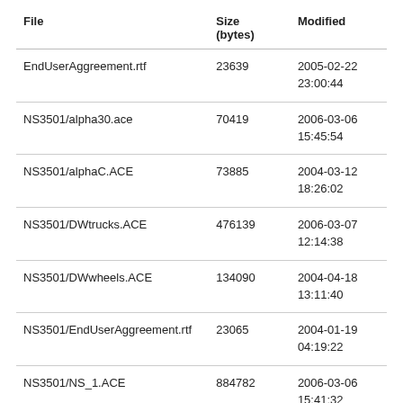| File | Size
(bytes) | Modified |
| --- | --- | --- |
| EndUserAggreement.rtf | 23639 | 2005-02-22
23:00:44 |
| NS3501/alpha30.ace | 70419 | 2006-03-06
15:45:54 |
| NS3501/alphaC.ACE | 73885 | 2004-03-12
18:26:02 |
| NS3501/DWtrucks.ACE | 476139 | 2006-03-07
12:14:38 |
| NS3501/DWwheels.ACE | 134090 | 2004-04-18
13:11:40 |
| NS3501/EndUserAggreement.rtf | 23065 | 2004-01-19
04:19:22 |
| NS3501/NS_1.ACE | 884782 | 2006-03-06
15:41:32 |
| NS3501/NS_2.ACE | 335054 | 2006-03-06
15:42:10 |